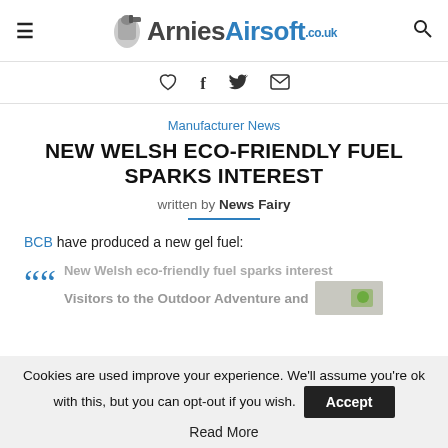ArniesAirsoft.co.uk
♡ f 🐦 ✉
Manufacturer News
NEW WELSH ECO-FRIENDLY FUEL SPARKS INTEREST
written by News Fairy
BCB have produced a new gel fuel:
New Welsh eco-friendly fuel sparks interest
Visitors to the Outdoor Adventure and
Cookies are used improve your experience. We'll assume you're ok with this, but you can opt-out if you wish. Accept
Read More